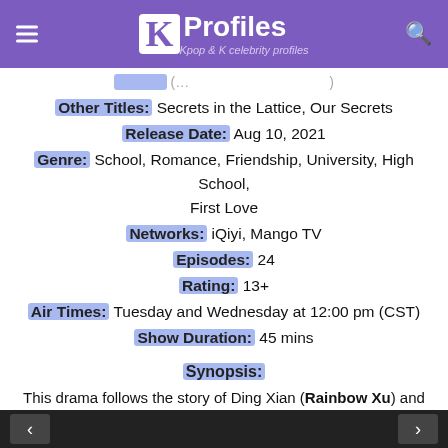KProfiles - Kpop & K celebrity profiles
Other Titles: Secrets in the Lattice, Our Secrets
Release Date: Aug 10, 2021
Genre: School, Romance, Friendship, University, High School, First Love
Networks: iQiyi, Mango TV
Episodes: 24
Rating: 13+
Air Times: Tuesday and Wednesday at 12:00 pm (CST)
Show Duration: 45 mins
Synopsis:
This drama follows the story of Ding Xian (Rainbow Xu) and Zhou Si Yue (Chen Zheyuan) a story adapted from the novel which is set in the High School and University Years of their lives. Meeting for the first time in high school, the two did not get along, but as time went on, the bond between the
< >